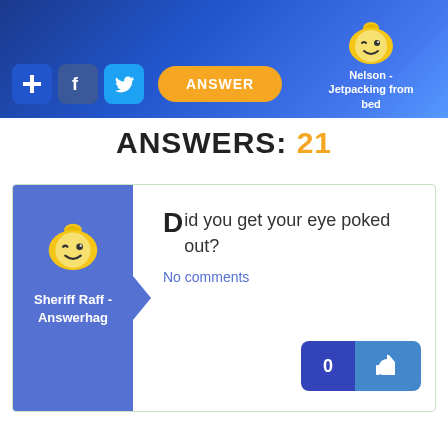[Figure (screenshot): Website header banner with blue gradient background, social media icons (plus, Facebook, Twitter), an orange ANSWER button, and a Nelson mascot with text 'Nelson - Jetpacking from bed']
ANSWERS: 21
[Figure (screenshot): Answer card with user avatar (Sheriff Raff - Answerhag), answer text 'Did you get your eye poked out?', No comments link, and a like button showing 0]
Did you get your eye poked out?
No comments